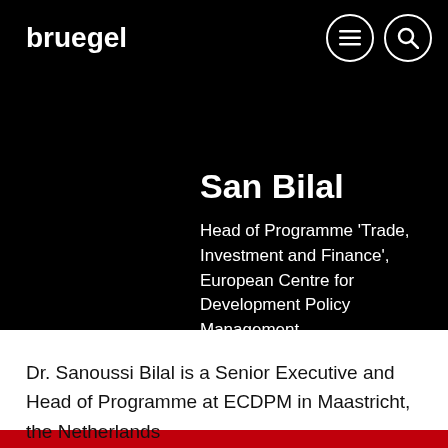bruegel
San Bilal
Head of Programme 'Trade, Investment and Finance', European Centre for Development Policy Management,
Dr. Sanoussi Bilal is a Senior Executive and Head of Programme at ECDPM in Maastricht, the Netherlands